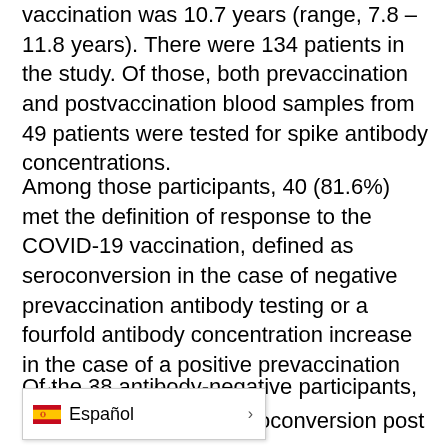vaccination was 10.7 years (range, 7.8 – 11.8 years). There were 134 patients in the study. Of those, both prevaccination and postvaccination blood samples from 49 patients were tested for spike antibody concentrations.
Among those participants, 40 (81.6%) met the definition of response to the COVID-19 vaccination, defined as seroconversion in the case of negative prevaccination antibody testing or a fourfold antibody concentration increase in the case of a positive prevaccination antibody result.
Of the 38 antibody-negative participants, 33 (  oconversion post